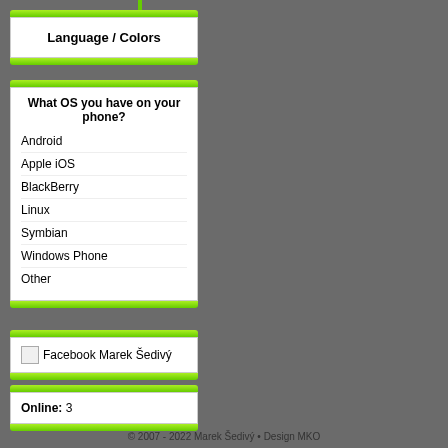Language / Colors
What OS you have on your phone?
Android
Apple iOS
BlackBerry
Linux
Symbian
Windows Phone
Other
Facebook Marek Šedivý
Online: 3
© 2007 - 2022 Marek Šedivý • Design MKO